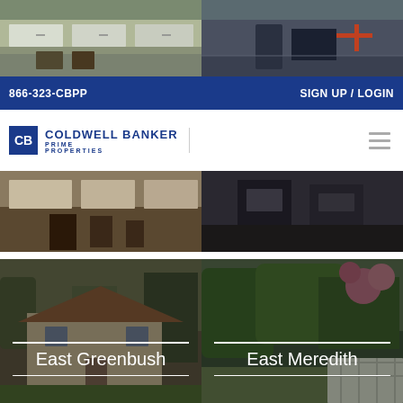[Figure (screenshot): Top strip with two dark interior room photos side by side]
[Figure (screenshot): Second strip: left photo shows white kitchen cabinets interior, right photo shows dark interior with blue accent]
866-323-CBPP
SIGN UP / LOGIN
[Figure (logo): Coldwell Banker Prime Properties logo with CB icon]
[Figure (screenshot): Third strip: left photo shows kitchen with dark chairs, right photo shows dark interior room]
[Figure (photo): East Greenbush neighborhood photo showing house with stone facade and trees, overlaid with text]
East Greenbush
[Figure (photo): East Meredith neighborhood photo showing garden with pink flowering bushes, overlaid with text]
East Meredith